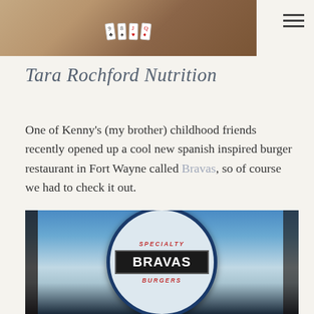[Figure (photo): Top portion of a photo showing playing cards spread out on a wooden table surface]
Tara Rochford Nutrition
One of Kenny's (my brother) childhood friends recently opened up a cool new spanish inspired burger restaurant in Fort Wayne called Bravas, so of course we had to check it out.
[Figure (photo): Photo of the Bravas Specialty Burgers restaurant sign/logo - circular sign with 'SPECIALTY' in red italic lettering at top, 'BRAVAS' in large white bold letters on dark banner in the middle, and 'BURGERS' in red italic lettering at bottom, set against a blue sky background]